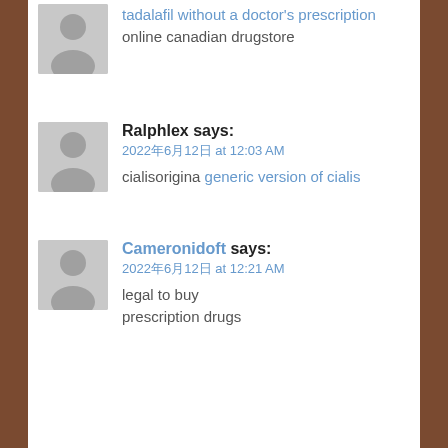[Figure (illustration): Grey avatar placeholder image — silhouette of a person]
tadalafil without a doctor's prescription online canadian drugstore
[Figure (illustration): Grey avatar placeholder image — silhouette of a person]
Ralphlex says:
2022年6月12日 at 12:03 AM
cialisorigina generic version of cialis
[Figure (illustration): Grey avatar placeholder image — silhouette of a person]
Cameronidoft says:
2022年6月12日 at 12:21 AM
legal to buy prescription drugs